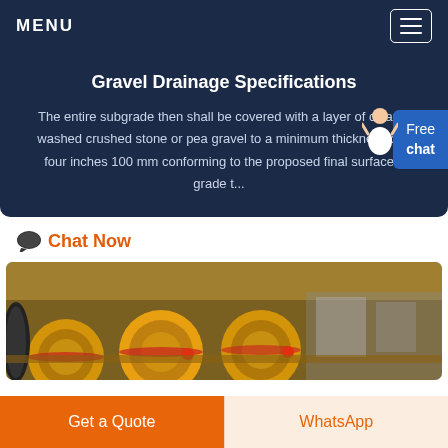MENU
Gravel Drainage Specifications
The entire subgrade then shall be covered with a layer of clean washed crushed stone or pea gravel to a minimum thickness of four inches 100 mm conforming to the proposed final surface grade t...
Free chat
Chat Now
[Figure (photo): Industrial machinery with large yellow spools/drums in a factory setting]
Get a Quote
WhatsApp